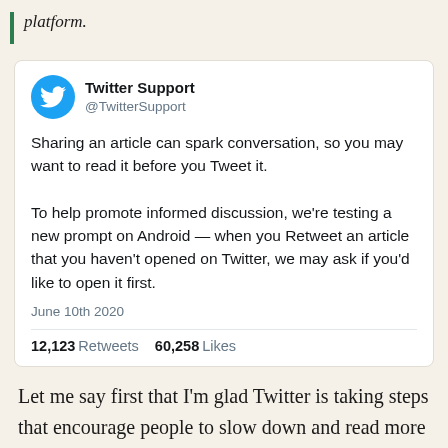platform.
[Figure (screenshot): Tweet from @TwitterSupport dated June 10th 2020. Text: 'Sharing an article can spark conversation, so you may want to read it before you Tweet it. To help promote informed discussion, we're testing a new prompt on Android — when you Retweet an article that you haven't opened on Twitter, we may ask if you'd like to open it first.' Stats: 12,123 Retweets 60,258 Likes]
Let me say first that I'm glad Twitter is taking steps that encourage people to slow down and read more than a headline. It's a small step in the right direction,